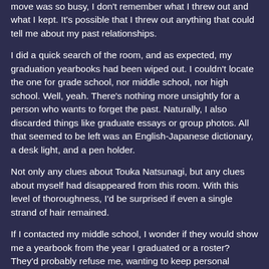move was so busy, I don't remember what I threw out and what I kept. It's possible that I threw out anything that could tell me about my past relationships.
I did a quick search of the room, and as expected, my graduation yearbooks had been wiped out. I couldn't locate the one for grade school, nor middle school, nor high school. Well, yeah. There's nothing more unsightly for a person who wants to forget the past. Naturally, I also discarded things like graduate essays or group photos. All that seemed to be left was an English-Japanese dictionary, a desk light, and a pen holder.
Not only any clues about Touka Natsunagi, but any clues about myself had disappeared from this room. With this level of thoroughness, I'd be surprised if even a single strand of hair remained.
If I contacted my middle school, I wonder if they would show me a yearbook from the year I graduated or a roster? They'd probably refuse me, wanting to keep personal information secure. If I could ask a former classmate to lend me their yearbook, that would work just fine, but this was also not an option for someone with no friends in middle school. I didn't even remember any names, much less contact information.
The search was over in no time at all. There was nothing more I could